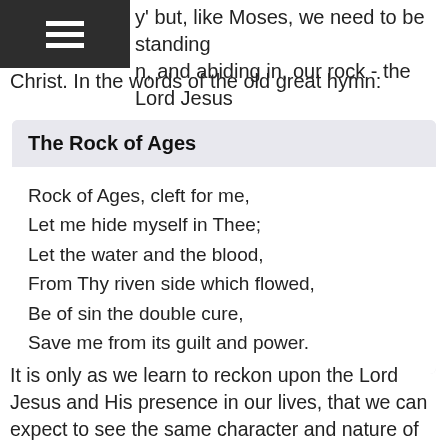y' but, like Moses, we need to be standing n, and abiding in, our rock - the Lord Jesus Christ. In the words of the old great hymn:
The Rock of Ages
Rock of Ages, cleft for me,
Let me hide myself in Thee;
Let the water and the blood,
From Thy riven side which flowed,
Be of sin the double cure,
Save me from its guilt and power.
It is only as we learn to reckon upon the Lord Jesus and His presence in our lives, that we can expect to see the same character and nature of God displayed in our lives. And again, this is what Christ in us, hope of glory is all about. It is once again seeing the nature and character of God